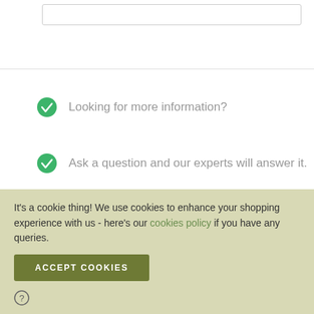Looking for more information?
Ask a question and our experts will answer it.
Powered by REVIEWS.io
It's a cookie thing! We use cookies to enhance your shopping experience with us - here's our cookies policy if you have any queries.
ACCEPT COOKIES